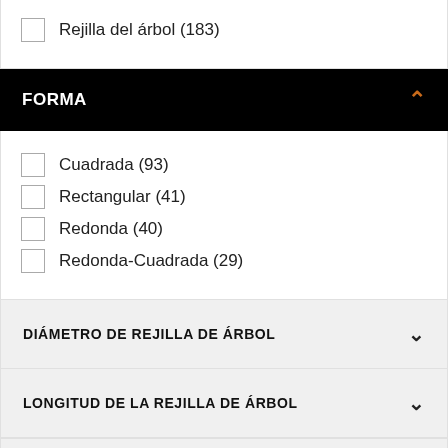Rejilla del árbol (183)
FORMA
Cuadrada (93)
Rectangular (41)
Redonda (40)
Redonda-Cuadrada (29)
DIÁMETRO DE REJILLA DE ÁRBOL
LONGITUD DE LA REJILLA DE ÁRBOL